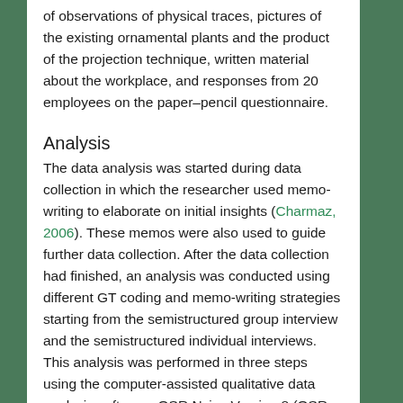of observations of physical traces, pictures of the existing ornamental plants and the product of the projection technique, written material about the workplace, and responses from 20 employees on the paper–pencil questionnaire.
Analysis
The data analysis was started during data collection in which the researcher used memo-writing to elaborate on initial insights (Charmaz, 2006). These memos were also used to guide further data collection. After the data collection had finished, an analysis was conducted using different GT coding and memo-writing strategies starting from the semistructured group interview and the semistructured individual interviews. This analysis was performed in three steps using the computer-assisted qualitative data analysis software: QSR Nvivo Version 8 (QSR International, Southport, UK).